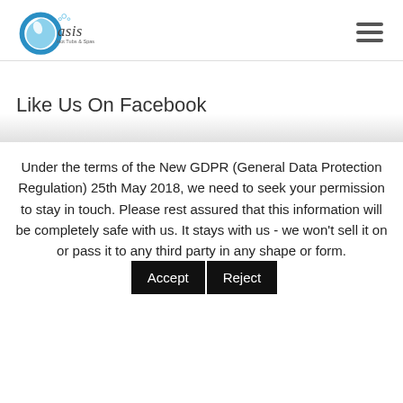[Figure (logo): Oasis Hot Tubs & Spas logo with blue swirl/water drop icon and text]
Like Us On Facebook
Under the terms of the New GDPR (General Data Protection Regulation) 25th May 2018, we need to seek your permission to stay in touch. Please rest assured that this information will be completely safe with us. It stays with us - we won't sell it on or pass it to any third party in any shape or form.